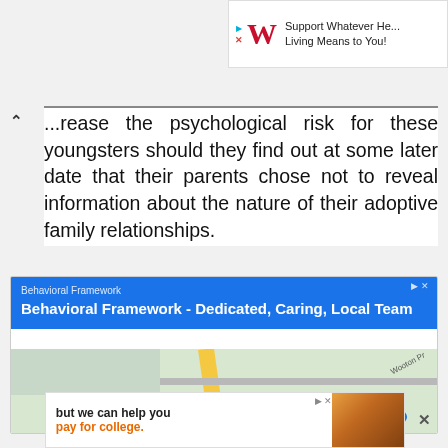[Figure (screenshot): Walgreens ad banner at top right: red W logo with text 'Support Whatever He... Living Means to You!']
...rease the psychological risk for these youngsters should they find out at some later date that their parents chose not to reveal information about the nature of their adoptive family relationships.
[Figure (screenshot): Google map ad for Behavioral Framework - Dedicated, Caring, Local Team with map background showing roads near Wooton]
[Figure (screenshot): Bottom ad banner: 'but we can help you pay for college.' with photo]